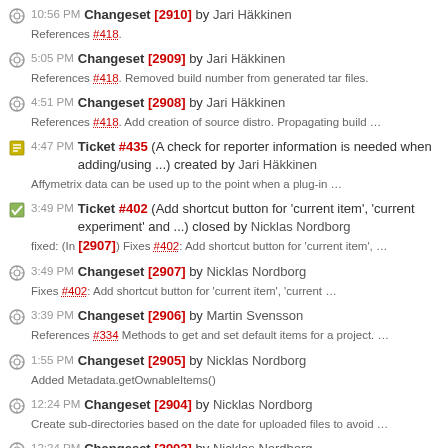10:56 PM Changeset [2910] by Jari Häkkinen
References #418.
5:05 PM Changeset [2909] by Jari Häkkinen
References #418. Removed build number from generated tar files.
4:51 PM Changeset [2908] by Jari Häkkinen
References #418. Add creation of source distro. Propagating build …
4:47 PM Ticket #435 (A check for reporter information is needed when adding/using ...) created by Jari Häkkinen
Affymetrix data can be used up to the point when a plug-in …
3:49 PM Ticket #402 (Add shortcut button for 'current item', 'current experiment' and ...) closed by Nicklas Nordborg
fixed: (In [2907]) Fixes #402: Add shortcut button for 'current item', …
3:49 PM Changeset [2907] by Nicklas Nordborg
Fixes #402: Add shortcut button for 'current item', 'current …
3:39 PM Changeset [2906] by Martin Svensson
References #334 Methods to get and set default items for a project. …
1:55 PM Changeset [2905] by Nicklas Nordborg
Added Metadata.getOwnableItems()
12:24 PM Changeset [2904] by Nicklas Nordborg
Create sub-directories based on the date for uploaded files to avoid …
12:24 PM Changeset [2903] by Nicklas Nordborg
Fixed problems with non-existing input fields when replacing a file